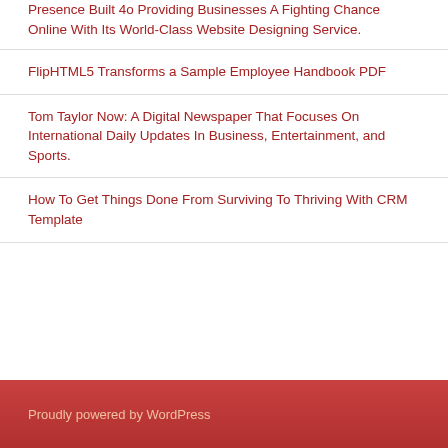Presence Built 4o Providing Businesses A Fighting Chance Online With Its World-Class Website Designing Service.
FlipHTML5 Transforms a Sample Employee Handbook PDF
Tom Taylor Now: A Digital Newspaper That Focuses On International Daily Updates In Business, Entertainment, and Sports.
How To Get Things Done From Surviving To Thriving With CRM Template
Proudly powered by WordPress